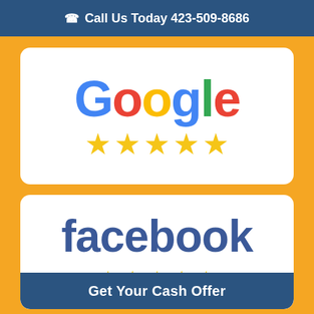Call Us Today 423-509-8686
[Figure (logo): Google logo with 5 gold stars rating]
[Figure (logo): Facebook logo with 5 gold stars rating and a Get Your Cash Offer button]